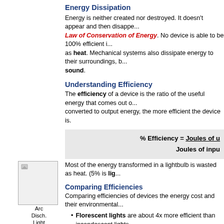Energy Dissipation
Energy is neither created nor destroyed. It doesn't appear and then disappe... Law of Conservation of Energy. No device is able to be 100% efficient... as heat. Mechanical systems also dissipate energy to their surroundings, b... sound.
Understanding Efficiency
The efficiency of a device is the ratio of the useful energy that comes out... converted to output energy, the more efficient the device is.
Most of the energy transformed in a lightbulb is wasted as heat. (5% is lig...
Comparing Efficiencies
Comparing efficiencies of devices the energy cost and their environmental...
Florescent lights are about 4x more efficient than incandescent lights...
Arc-discharge lights (streetlights) are even more efficient.
Hybrid gasoline-electric vehicles are more efficient than gas-powere...
[Figure (photo): Arc Discharge Light image placeholder]
Arc Disch. Light
3.4
Reducing the Energy Wasted by Devices
Devices, which have an energy-efficient design, are an important co... electricity. Energy costs money and it also affects the environment, so...
[Figure (photo): Second image placeholder at bottom]
Limits to Efficiency